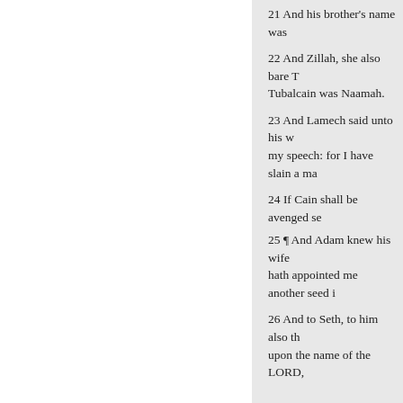21 And his brother's name was
22 And Zillah, she also bare Tubalcain was Naamah.
23 And Lamech said unto his w my speech: for I have slain a ma
24 If Cain shall be avenged se
25 ¶ And Adam knew his wife hath appointed me another seed i
26 And to Seth, to him also the upon the name of the LORD,
2 Male and female created he were created. 3 ¶ And Adam live image; and called his name Seth
4 And the days of Adam after h daughters: